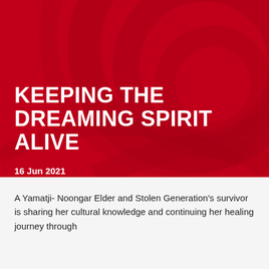[Figure (illustration): Red background with dark red swirl/circular decorative pattern, representing an Aboriginal-inspired design element]
KEEPING THE DREAMING SPIRIT ALIVE
16 Jun 2021
News/Arts and Entertainment
A Yamatji- Noongar Elder and Stolen Generation's survivor is sharing her cultural knowledge and continuing her healing journey through